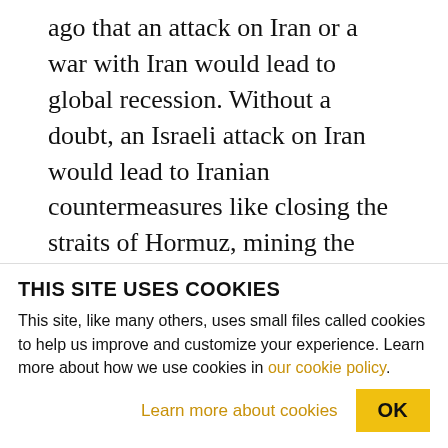ago that an attack on Iran or a war with Iran would lead to global recession. Without a doubt, an Israeli attack on Iran would lead to Iranian countermeasures like closing the straits of Hormuz, mining the straits of Hormuz, something like that, which would eventually, within a matter of weeks, like, two weeks, impact the U.S. economy. And this whole election is about the economy. It's not actually about Iran.
So Obama faces the prospect, if there's an Israeli
THIS SITE USES COOKIES
This site, like many others, uses small files called cookies to help us improve and customize your experience. Learn more about how we use cookies in our cookie policy.
Learn more about cookies   OK